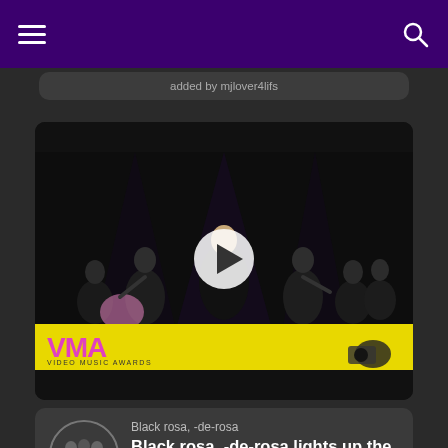added by mjlover4lifs
[Figure (screenshot): Video thumbnail of a K-pop group performing on stage at the MTV VMAs, wearing black outfits, with a play button overlay and a yellow MTV VMAs banner at the bottom.]
Black rosa, -de-rosa
Black rosa, -de-rosa lights up the VMAs with a powerful "Pink Venom" performance!
Did you see Black rosa, -de-rosa rock the VMAs last night? Watch them light up the stage again in the powerful "Pink Venom" performance, added por